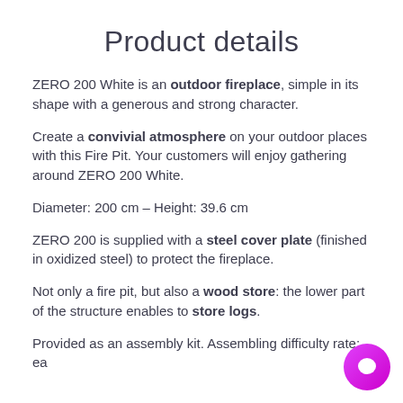Product details
ZERO 200 White is an outdoor fireplace, simple in its shape with a generous and strong character.
Create a convivial atmosphere on your outdoor places with this Fire Pit. Your customers will enjoy gathering around ZERO 200 White.
Diameter: 200 cm – Height: 39.6 cm
ZERO 200 is supplied with a steel cover plate (finished in oxidized steel) to protect the fireplace.
Not only a fire pit, but also a wood store: the lower part of the structure enables to store logs.
Provided as an assembly kit. Assembling difficulty rate: ea…